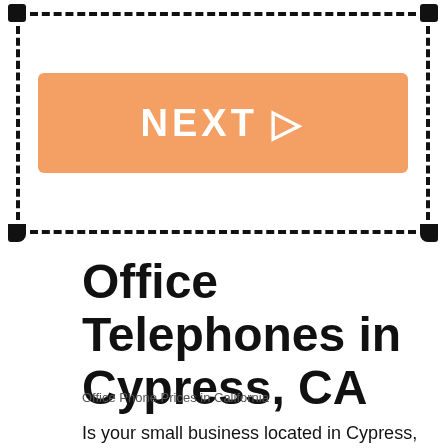[Figure (other): Dashed border box with orange NEXT button containing right-pointing triangle]
Office Telephones in Cypress, CA
Office Phone Prices in California
Is your small business located in Cypress, CA and are you researching business phone systems? Would you like to save money on a PBX phone system but aren't sure which is the best phone solution for your business? Would you like